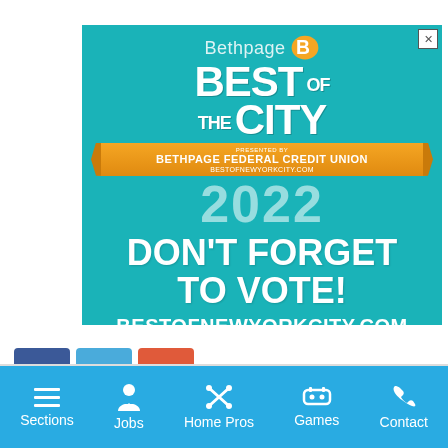[Figure (illustration): Bethpage Best of the City 2022 advertisement banner on teal background. Text reads: Bethpage Best of the City, presented by Bethpage Federal Credit Union, bestofnewyorkcity.com, 2022, DON'T FORGET TO VOTE!, BESTOFNEWYORKCITY.COM]
[Figure (illustration): Three social media icon buttons: Facebook (blue), Twitter (light blue), and a plus/share button (orange-red)]
Sections  Jobs  Home Pros  Games  Contact